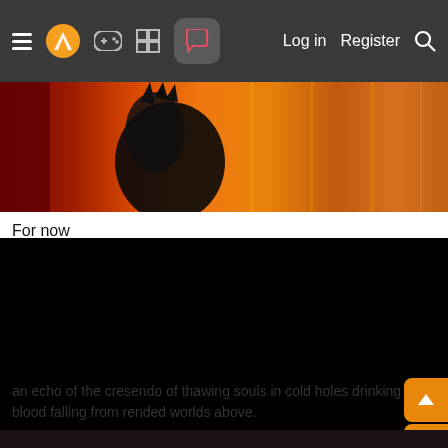≡  [logo]  [gamepad icon]  [grid icon]  [chat icon]    Log in   Register  🔍
[Figure (illustration): Partial view of a dark fantasy illustration with fiery orange and red background, showing a dark creature or figure against flames]
For now
[Figure (photo): Completely black image block]
an echo of the cresendo of thawing souls in cold holes drinking blood falling from rended worlds above.
[Figure (photo): Bottom strip — dark/black image beginning to appear at very bottom of page]